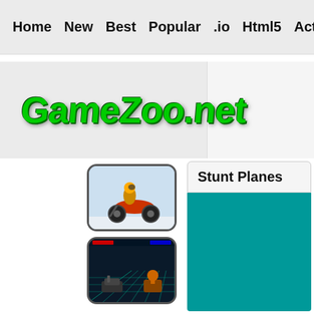Home  New  Best  Popular  .io  Html5  Action  Funny  Classic  S
[Figure (logo): GameZoo.net logo in bold green stylized font]
[Figure (photo): Motorcycle stunt game thumbnail showing a rider on a motorbike]
[Figure (photo): Tank/vehicle game thumbnail with dark grid arena and vehicles]
Stunt Planes
[Figure (screenshot): Stunt Planes game preview with teal/turquoise background]